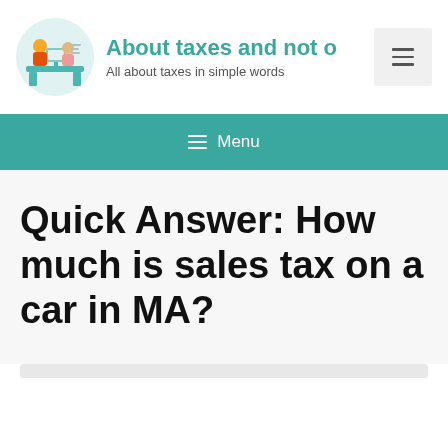[Figure (logo): Circular logo with illustrated figures of people at a desk/counter, teal and orange colors]
About taxes and not o... | All about taxes in simple words
≡ Menu
Quick Answer: How much is sales tax on a car in MA?